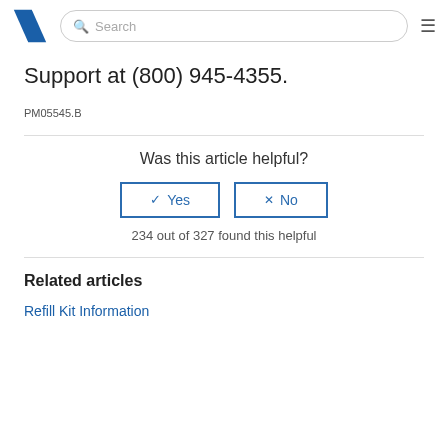Search
Support at (800) 945-4355.
PM05545.B
Was this article helpful?
234 out of 327 found this helpful
Related articles
Refill Kit Information